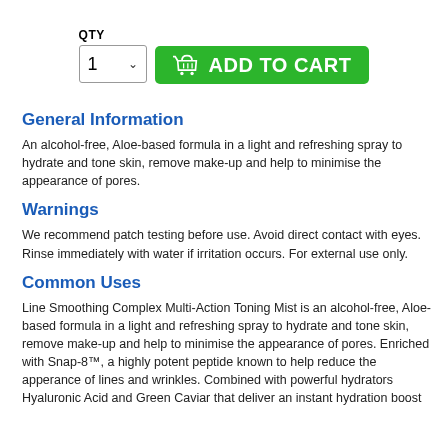[Figure (screenshot): QTY dropdown selector showing '1' with chevron, and a green 'ADD TO CART' button with basket icon]
General Information
An alcohol-free, Aloe-based formula in a light and refreshing spray to hydrate and tone skin, remove make-up and help to minimise the appearance of pores.
Warnings
We recommend patch testing before use. Avoid direct contact with eyes. Rinse immediately with water if irritation occurs. For external use only.
Common Uses
Line Smoothing Complex Multi-Action Toning Mist is an alcohol-free, Aloe-based formula in a light and refreshing spray to hydrate and tone skin, remove make-up and help to minimise the appearance of pores. Enriched with Snap-8™, a highly potent peptide known to help reduce the apperance of lines and wrinkles. Combined with powerful hydrators Hyaluronic Acid and Green Caviar that deliver an instant hydration boost